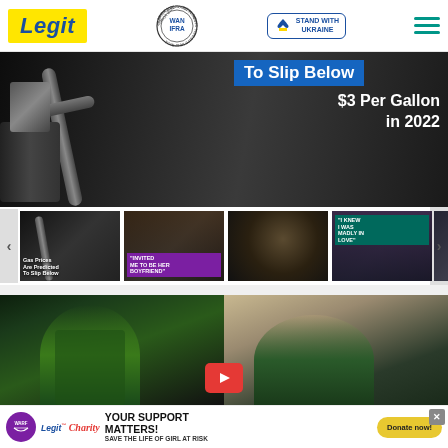Legit — Best News Website in Africa 2021 (WAN-IFRA) — Stand with Ukraine
[Figure (screenshot): Hero banner with gas pump image and text: To Slip Below $3 Per Gallon in 2022]
[Figure (screenshot): Thumbnail carousel: Gas prices predicted to slip below..., Invited me to be her boyfriend, Saudi prince, I knew I was madly in love]
[Figure (screenshot): Bottom video section with two women in split-screen video thumbnails with play button]
YOUR SUPPORT MATTERS! SAVE THE LIFE OF GIRL AT RISK — Donate now!